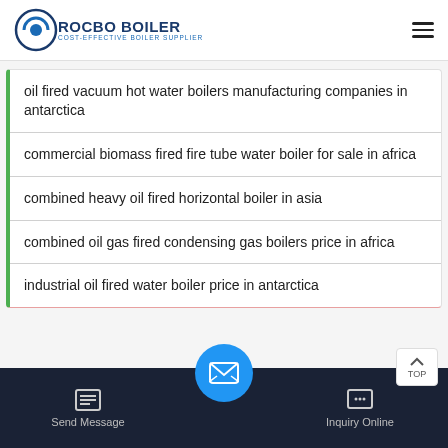ROCBO BOILER - COST-EFFECTIVE BOILER SUPPLIER
oil fired vacuum hot water boilers manufacturing companies in antarctica
commercial biomass fired fire tube water boiler for sale in africa
combined heavy oil fired horizontal boiler in asia
combined oil gas fired condensing gas boilers price in africa
industrial oil fired water boiler price in antarctica
Send Message | Inquiry Online